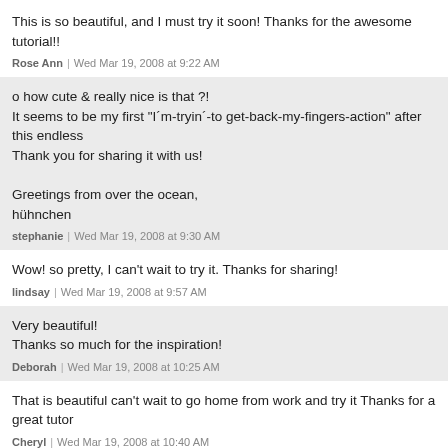This is so beautiful, and I must try it soon! Thanks for the awesome tutorial!!
Rose Ann | Wed Mar 19, 2008 at 9:22 AM
o how cute & really nice is that ?!
It seems to be my first "I´m-tryin´-to get-back-my-fingers-action" after this endless
Thank you for sharing it with us!

Greetings from over the ocean,
hühnchen
stephanie | Wed Mar 19, 2008 at 9:30 AM
Wow! so pretty, I can't wait to try it. Thanks for sharing!
lindsay | Wed Mar 19, 2008 at 9:57 AM
Very beautiful!
Thanks so much for the inspiration!
Deborah | Wed Mar 19, 2008 at 10:25 AM
That is beautiful can't wait to go home from work and try it Thanks for a great tutor
Cheryl | Wed Mar 19, 2008 at 10:40 AM
Thanks for the kind comments! To answer your question, Pattie, yes -- the scallop
Donna | Wed Mar 19, 2008 at 10:57 AM